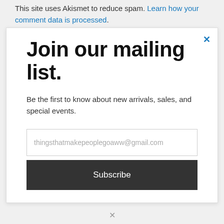This site uses Akismet to reduce spam. Learn how your comment data is processed.
Join our mailing list.
Be the first to know about new arrivals, sales, and special events.
thingsthatmakepeoplegoaww@gmail.com
Subscribe